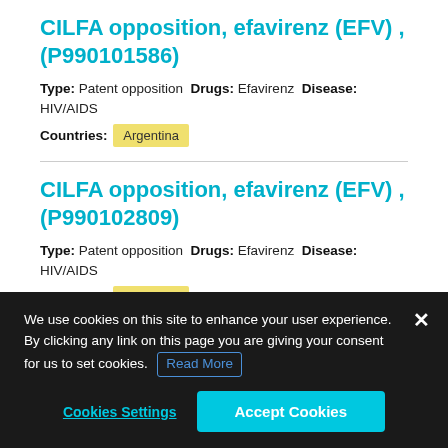CILFA opposition, efavirenz (EFV) , (P990101586)
Type: Patent opposition Drugs: Efavirenz Disease: HIV/AIDS Countries: Argentina
CILFA opposition, efavirenz (EFV) , (P990102809)
Type: Patent opposition Drugs: Efavirenz Disease: HIV/AIDS Countries: Argentina
CILFA opposition, eltrombopag
We use cookies on this site to enhance your user experience. By clicking any link on this page you are giving your consent for us to set cookies. Read More